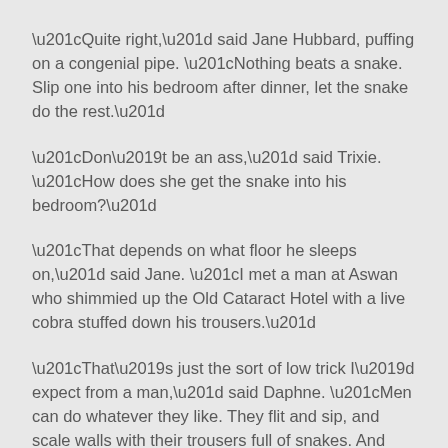“Quite right,” said Jane Hubbard, puffing on a congenial pipe. “Nothing beats a snake. Slip one into his bedroom after dinner, let the snake do the rest.”
“Don’t be an ass,” said Trixie. “How does she get the snake into his bedroom?”
“That depends on what floor he sleeps on,” said Jane. “I met a man at Aswan who shimmied up the Old Cataract Hotel with a live cobra stuffed down his trousers.”
“That’s just the sort of low trick I’d expect from a man,” said Daphne. “Men can do whatever they like. They flit and sip, and scale walls with their trousers full of snakes. And what can we women do about it? Nothing!”
The shapely eyebrows of the smoking room rose in